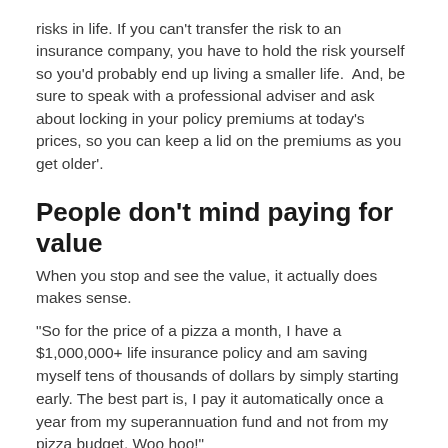risks in life. If you can't transfer the risk to an insurance company, you have to hold the risk yourself so you'd probably end up living a smaller life.  And, be sure to speak with a professional adviser and ask about locking in your policy premiums at today's prices, so you can keep a lid on the premiums as you get older'.
People don't mind paying for value
When you stop and see the value, it actually does makes sense.
"So for the price of a pizza a month, I have a $1,000,000+ life insurance policy and am saving myself tens of thousands of dollars by simply starting early. The best part is, I pay it automatically once a year from my superannuation fund and not from my pizza budget. Woo hoo!"